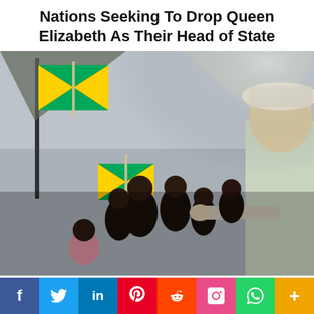Nations Seeking To Drop Queen Elizabeth As Their Head of State
[Figure (photo): Photo showing Queen Elizabeth in a white outfit and hat greeting children waving Jamaican flags under a tent canopy]